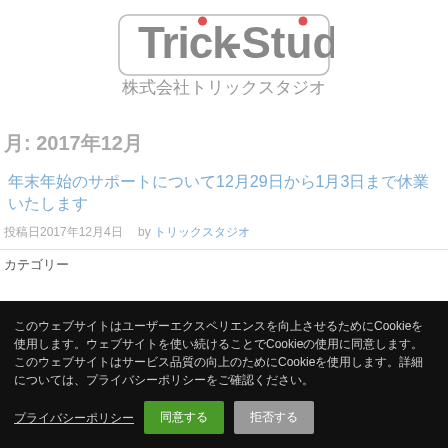[Figure (logo): Trick-Studio logo with grey text and red dot accent, followed by Japanese company name 株式会社トリックスタジオ]
月: 2017年12月
年末年始のサポートについて12月29日から1月3日まで休業いたします
投稿日2017年12月4日 by トリックスタジオ
カテゴリー
このウェブサイトはユーザーエクスペリエンスを向上させるためにCookieを使用します。ウェブサイトを使い続けることでCookieの使用に同意します。このウェブサイトはサービス品質の向上のためにCookieを使用します。詳細については、プライバシーポリシーをご確認ください。
プライバシーポリシー
同意する
拒否する